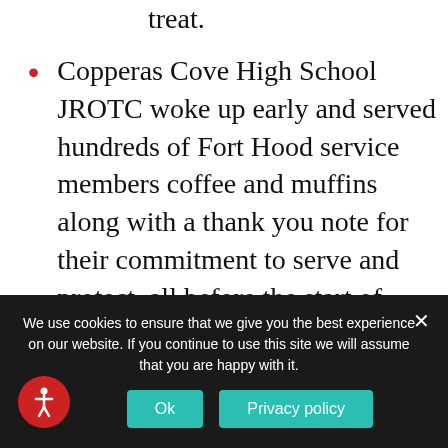treat.
Copperas Cove High School JROTC woke up early and served hundreds of Fort Hood service members coffee and muffins along with a thank you note for their commitment to serve and protect, all before the start of their school day.
While on deployment in Okinawa, Japan, a Marine partnered with a local hospital and nonprofit to
We use cookies to ensure that we give you the best experience on our website. If you continue to use this site we will assume that you are happy with it.